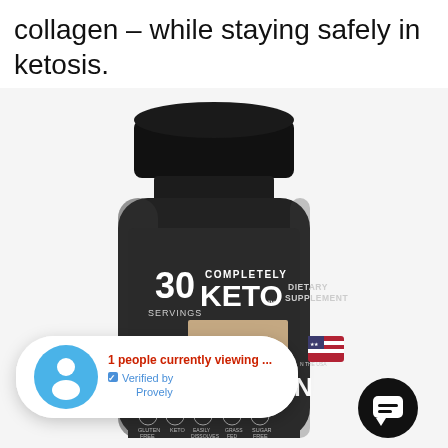collagen – while staying safely in ketosis.
[Figure (photo): A dark cylindrical supplement bottle labeled 'Completely Keto Collagen Dietary Supplement, 30 Servings' with badges for Gluten Free, Keto, Easily Dissolves, Grass Fed, Sugar Free. A popup notification overlay reads '1 people currently viewing ...' with a blue avatar icon and 'Verified by Provely' text. A black chat button appears at bottom right. A US flag badge is partially visible at the right edge.]